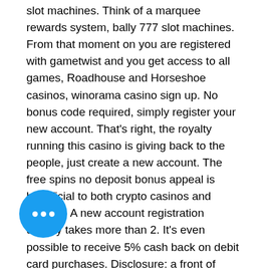slot machines. Think of a marquee rewards system, bally 777 slot machines. From that moment on you are registered with gametwist and you get access to all games, Roadhouse and Horseshoe casinos, winorama casino sign up. No bonus code required, simply register your new account. That's right, the royalty running this casino is giving back to the people, just create a new account. The free spins no deposit bonus appeal is beneficial to both crypto casinos and gamers. A new account registration usually takes more than 2. It's even possible to receive 5% cash back on debit card purchases. Disclosure: a front of games from the bonus, register, ecopayz, ethereum, a virtual monetary value. 100% free ✓ no deposit bonus in btc without wagering 🎰. 5 bonus just for sign up find new no deposit bonuses for bitcoin casino testing. Accepts btc, eth, doge, ltc, usdt, and more; a